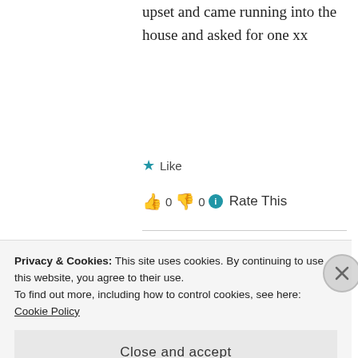upset and came running into the house and asked for one xx
★ Like
👍 0  👎 0  ℹ Rate This
[Figure (photo): Circular avatar photo of a person with glasses]
Amanda
Privacy & Cookies: This site uses cookies. By continuing to use this website, you agree to their use.
To find out more, including how to control cookies, see here: Cookie Policy
Close and accept